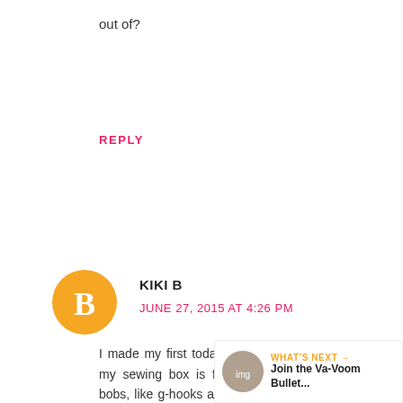out of?
REPLY
[Figure (illustration): Orange circular blogger avatar icon with white B logo]
KIKI B
JUNE 27, 2015 AT 4:26 PM
I made my first today and I'm hooked! Fortunately my sewing box is full of useful vintage bits and bobs, like g-hooks and linger elastic, so I was able to make one of those nec clasps, which I think is the most brilliant th ever. I made a muslin tester first to adjust the fit, which was quick and easy, and then m white cotton one for a starter. I'm a 30G, so bras that fit are hard to find. Now I can make my own!!